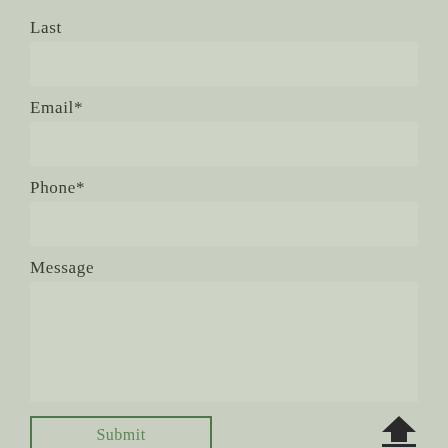Last
Email*
Phone*
Message
Submit